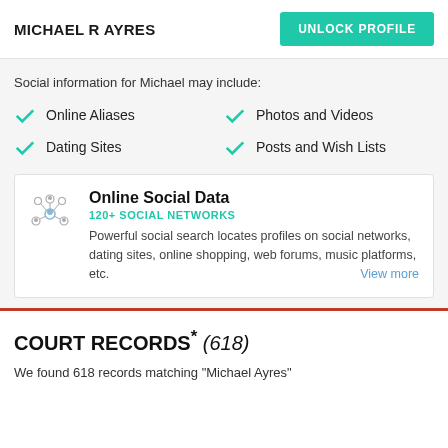MICHAEL R AYRES
Social information for Michael may include:
Online Aliases
Photos and Videos
Dating Sites
Posts and Wish Lists
Online Social Data
120+ SOCIAL NETWORKS
Powerful social search locates profiles on social networks, dating sites, online shopping, web forums, music platforms, etc. View more
COURT RECORDS* (618)
We found 618 records matching "Michael Ayres"